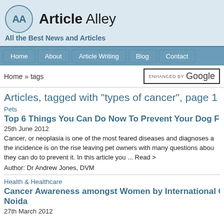AA Article Alley
All the Best News and Articles
Home | About | Article Writing | Blog | Contact
Home » tags
Articles, tagged with "types of cancer", page 1
Pets
Top 6 Things You Can Do Now To Prevent Your Dog From G
25th June 2012
Cancer, or neoplasia is one of the most feared diseases and diagnoses a the incidence is on the rise leaving pet owners with many questions abou they can do to prevent it. In this article you ... Read >
Author: Dr Andrew Jones, DVM
Health & Healthcare
Cancer Awareness amongst Women by International Oncol Noida
27th March 2012